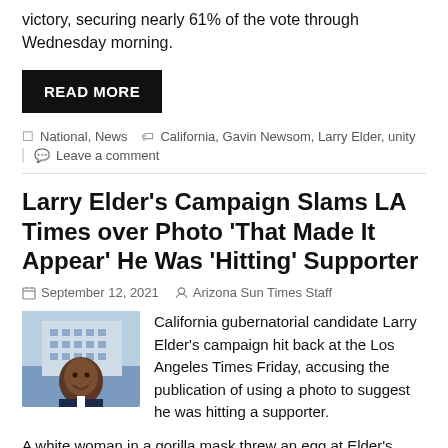victory, securing nearly 61% of the vote through Wednesday morning.
READ MORE
National, News   California, Gavin Newsom, Larry Elder, unity
Leave a comment
Larry Elder's Campaign Slams LA Times over Photo 'That Made It Appear' He Was 'Hitting' Supporter
September 12, 2021   Arizona Sun Times Staff
[Figure (photo): Headshot photo of Larry Elder, smiling, wearing a suit, with a building in the background]
California gubernatorial candidate Larry Elder's campaign hit back at the Los Angeles Times Friday, accusing the publication of using a photo to suggest he was hitting a supporter.
A white woman in a gorilla mask threw an egg at Elder's head Wednesday in an attack that he says would have been called a